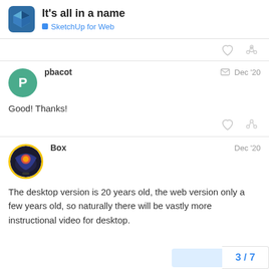It's all in a name — SketchUp for Web
[Figure (other): Action icons: heart (like) and link icons, grayed out]
pbacot   Dec '20
Good! Thanks!
[Figure (other): Action icons: heart (like) and link icons, grayed out]
Box   Dec '20
The desktop version is 20 years old, the web version only a few years old, so naturally there will be vastly more instructional video for desktop.
3 / 7